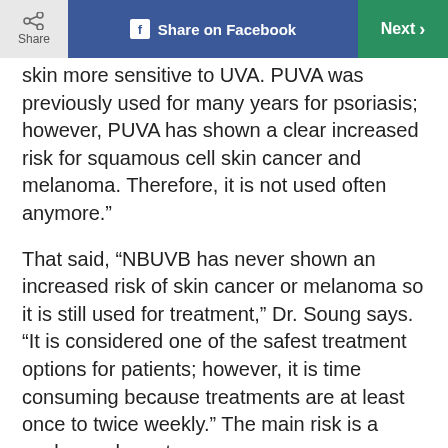Share | Share on Facebook | Next >
skin more sensitive to UVA. PUVA was previously used for many years for psoriasis; however, PUVA has shown a clear increased risk for squamous cell skin cancer and melanoma. Therefore, it is not used often anymore."
That said, “NBUVB has never shown an increased risk of skin cancer or melanoma so it is still used for treatment,” Dr. Soung says. “It is considered one of the safest treatment options for patients; however, it is time consuming because treatments are at least once to twice weekly.” The main risk is a sunburn, she notes.